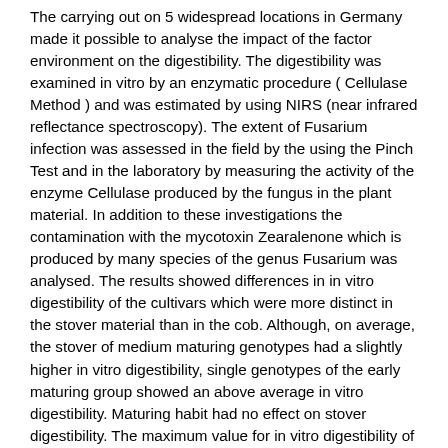The carrying out on 5 widespread locations in Germany made it possible to analyse the impact of the factor environment on the digestibility. The digestibility was examined in vitro by an enzymatic procedure ( Cellulase Method ) and was estimated by using NIRS (near infrared reflectance spectroscopy). The extent of Fusarium infection was assessed in the field by the using the Pinch Test and in the laboratory by measuring the activity of the enzyme Cellulase produced by the fungus in the plant material. In addition to these investigations the contamination with the mycotoxin Zearalenone which is produced by many species of the genus Fusarium was analysed. The results showed differences in in vitro digestibility of the cultivars which were more distinct in the stover material than in the cob. Although, on average, the stover of medium maturing genotypes had a slightly higher in vitro digestibility, single genotypes of the early maturing group showed an above average in vitro digestibility. Maturing habit had no effect on stover digestibility. The maximum value for in vitro digestibility of parts of the maize plant occurred at different stages of maturing. During the maturing process there was little variation in cob digestibility but the digestibility of the stover decreased significantly. In agreement of the both procedures no Fusarium infection of the cobs was detected. In contrast to this an occasional, massive infection of the stover material was found, depending on environment and cultivar.